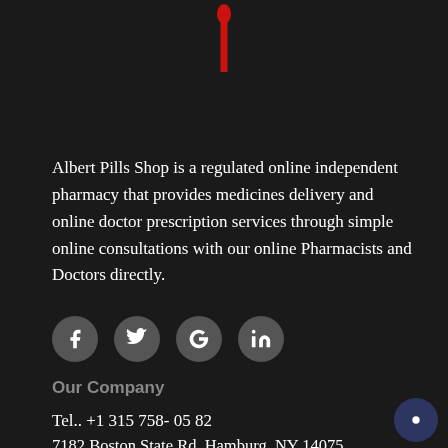[Figure (logo): Red droplet/logo mark at top center, partially cropped]
Albert Pills Shop is a regulated online independent pharmacy that provides medicines delivery and online doctor prescription services through simple online consultations with our online Pharmacists and Doctors directly.
[Figure (infographic): Four circular social media icons: Facebook (f), Twitter (bird), Google (G), LinkedIn (in)]
Our Company
Tel.. +1 315 758- 05 82
7182 Boston State Rd, Hamburg, NY 14075, United States
117 Crown Street, Camberwell, London, UK